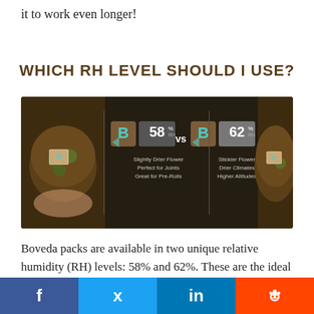it to work even longer!
WHICH RH LEVEL SHOULD I USE?
[Figure (infographic): Infographic comparing Boveda 58% RH vs 62% RH packs. Left: cannabis jar with Boveda pack. Center-left: brown Boveda logo with 58% RH label, text 'Slightly Drier Flower / Perfect for Joints / Great for Pre-Rolls'. Center: 'vs'. Center-right: brown Boveda logo with 62% RH label, text 'Stickier Flower / Drier Climates / Higher Altitudes'. Right: cannabis jar with Boveda pack.]
Boveda packs are available in two unique relative humidity (RH) levels: 58% and 62%. These are the ideal conditions for preserving cannabis - consider it the sweet
f  Twitter  in  Reddit social share bar